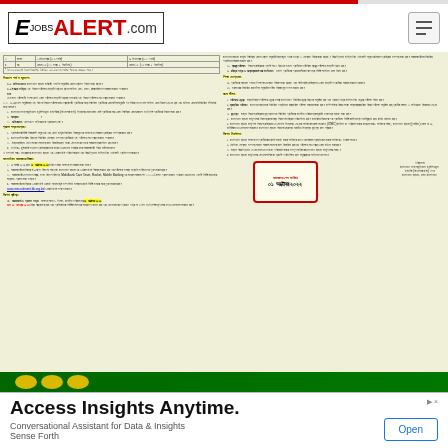EjobsALERT.com
[Figure (screenshot): Bengali government job circular document with two-column text layout on cream/beige background, containing numbered sections, highlighted headings, a red stamp showing application deadline of 01 October 2022, and signature block]
Access Insights Anytime.
Conversational Assistant for Data & Insights Sense Forth
Open